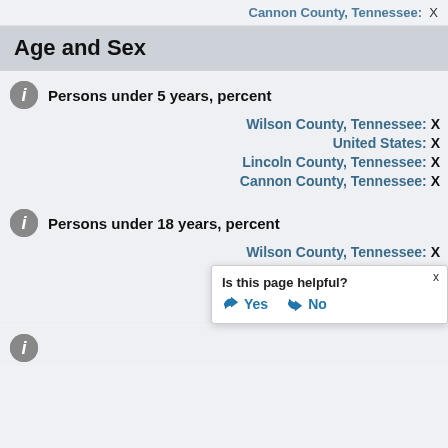Cannon County, Tennessee: X
Age and Sex
Persons under 5 years, percent
Wilson County, Tennessee: X
United States: X
Lincoln County, Tennessee: X
Cannon County, Tennessee: X
Persons under 18 years, percent
Wilson County, Tennessee: X
United States: X
Lincoln County, Tennessee: X
Cannon County, Tennessee: X
Is this page helpful? Yes No